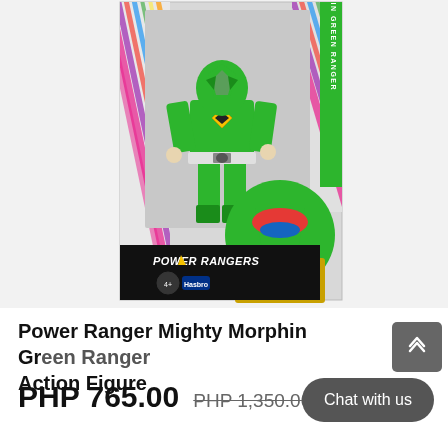[Figure (photo): Power Ranger Mighty Morphin Green Ranger Action Figure toy in its product box. The box shows the green ranger figure standing upright, with Power Rangers logo at the bottom in black bar with yellow lightning bolt diamond, green side tab label reading 'Morphin Green Ranger', and diagonal colorful stripes on the sides. Age rating 4+ and Hasbro logo visible.]
Power Ranger Mighty Morphin Green Ranger Action Figure
PHP 765.00  PHP 1,350.00